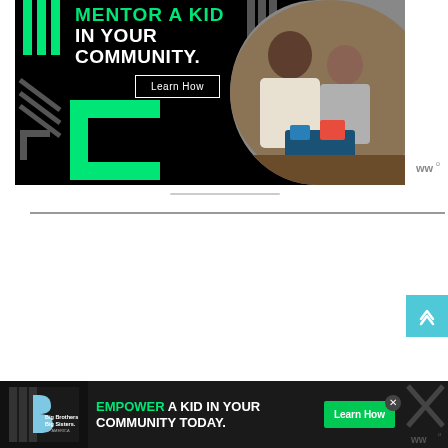[Figure (photo): Big Brothers Big Sisters advertisement banner. Black background with green neon-style text reading 'MENTOR A KID IN YOUR COMMUNITY.' with a Learn How button, green C-shaped logo on left, decorative green and gray bar graphics, and circular photo of an adult man and young boy working together on a robotics project.]
[Figure (other): Small Waze-like logo (w with degree symbol) in gray, top right of banner.]
[Figure (photo): Bottom advertisement bar: Big Brothers Big Sisters logo on left, text 'EMPOWER A KID IN YOUR COMMUNITY TODAY.' with green Learn How button, close X button, and decorative X pattern on right.]